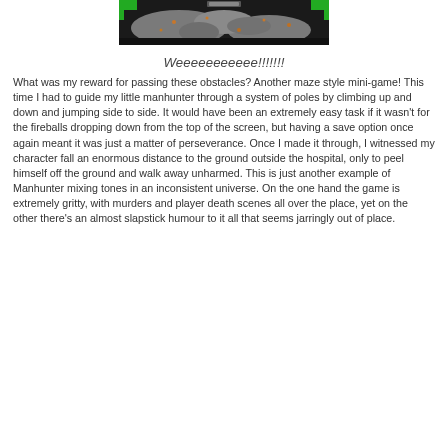[Figure (screenshot): A game screenshot showing a dark scene with gray terrain/ground textures, orange speckles, and green elements at the top corners against a dark/black background.]
Weeeeeeeeeee!!!!!!!
What was my reward for passing these obstacles? Another maze style mini-game! This time I had to guide my little manhunter through a system of poles by climbing up and down and jumping side to side. It would have been an extremely easy task if it wasn't for the fireballs dropping down from the top of the screen, but having a save option once again meant it was just a matter of perseverance. Once I made it through, I witnessed my character fall an enormous distance to the ground outside the hospital, only to peel himself off the ground and walk away unharmed. This is just another example of Manhunter mixing tones in an inconsistent universe. On the one hand the game is extremely gritty, with murders and player death scenes all over the place, yet on the other there's an almost slapstick humour to it all that seems jarringly out of place.